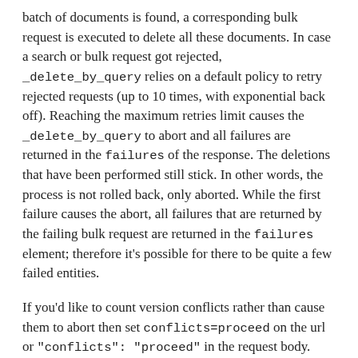batch of documents is found, a corresponding bulk request is executed to delete all these documents. In case a search or bulk request got rejected, _delete_by_query relies on a default policy to retry rejected requests (up to 10 times, with exponential back off). Reaching the maximum retries limit causes the _delete_by_query to abort and all failures are returned in the failures of the response. The deletions that have been performed still stick. In other words, the process is not rolled back, only aborted. While the first failure causes the abort, all failures that are returned by the failing bulk request are returned in the failures element; therefore it's possible for there to be quite a few failed entities.
If you'd like to count version conflicts rather than cause them to abort then set conflicts=proceed on the url or "conflicts": "proceed" in the request body.